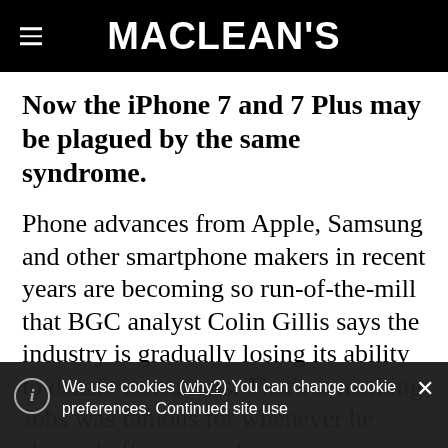MACLEAN'S
Now the iPhone 7 and 7 Plus may be plagued by the same syndrome.
Phone advances from Apple, Samsung and other smartphone makers in recent years are becoming so run-of-the-mill that BGC analyst Colin Gillis says the industry is gradually losing its ability to dazzle consumers. That's something Jobs was famous for whenever he showed off new products.
We use cookies (why?) You can change cookie preferences. Continued site use